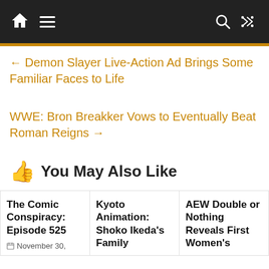Navigation bar with home, menu, search, shuffle icons
← Demon Slayer Live-Action Ad Brings Some Familiar Faces to Life
WWE: Bron Breakker Vows to Eventually Beat Roman Reigns →
👍 You May Also Like
The Comic Conspiracy: Episode 525
November 30,
Kyoto Animation: Shoko Ikeda's Family
AEW Double or Nothing Reveals First Women's